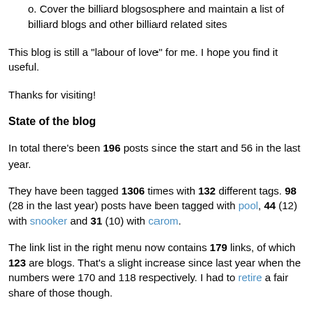o. Cover the billiard blogsosphere and maintain a list of billiard blogs and other billiard related sites
This blog is still a "labour of love" for me. I hope you find it useful.
Thanks for visiting!
State of the blog
In total there's been 196 posts since the start and 56 in the last year.
They have been tagged 1306 times with 132 different tags. 98 (28 in the last year) posts have been tagged with pool, 44 (12) with snooker and 31 (10) with carom.
The link list in the right menu now contains 179 links, of which 123 are blogs. That's a slight increase since last year when the numbers were 170 and 118 respectively. I had to retire a fair share of those though.
Related posts: